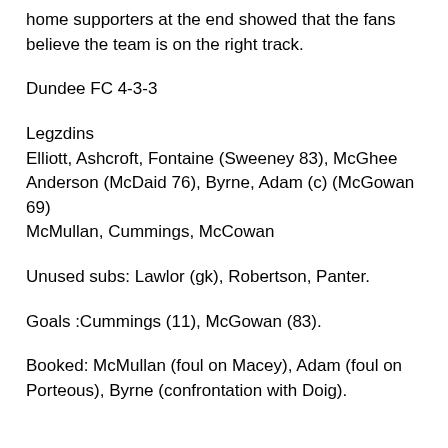home supporters at the end showed that the fans believe the team is on the right track.
Dundee FC 4-3-3
Legzdins
Elliott, Ashcroft, Fontaine (Sweeney 83), McGhee
Anderson (McDaid 76), Byrne, Adam (c) (McGowan 69)
McMullan, Cummings, McCowan
Unused subs: Lawlor (gk), Robertson, Panter.
Goals :Cummings (11), McGowan (83).
Booked: McMullan (foul on Macey), Adam (foul on Porteous), Byrne (confrontation with Doig).